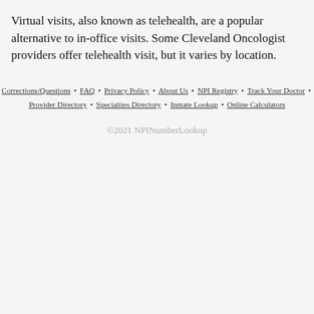Virtual visits, also known as telehealth, are a popular alternative to in-office visits. Some Cleveland Oncologist providers offer telehealth visit, but it varies by location.
Corrections/Questions • FAQ • Privacy Policy • About Us • NPI Registry • Track Your Doctor • Provider Directory • Specialties Directory • Inmate Lookup • Online Calculators
©2021 NPINumberLookup